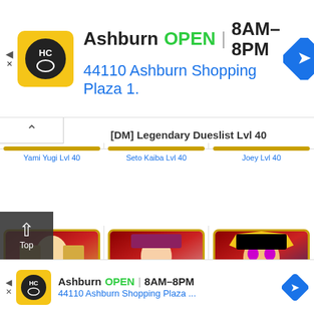[Figure (screenshot): Top advertisement banner for Hobby Town, Ashburn location. Logo is yellow with HC letters. Text: Ashburn OPEN 8AM-8PM, 44110 Ashburn Shopping Plaza 1. Navigation arrow icon on right.]
[Figure (screenshot): Collapse/minimize button (caret up) in top-left of main content area]
[DM] Legendary Dueslist Lvl 40
[Figure (illustration): Yami Yugi character portrait with red/dark background and gold border]
Yami Yugi Lvl 40
[Figure (illustration): Seto Kaiba character portrait with red background and gold border]
Seto Kaiba Lvl 40
[Figure (illustration): Joey character portrait with red/dark background and gold border]
Joey Lvl 40
[Figure (illustration): Mai character portrait with red/gold background and gold border]
Mai Lvl 40
[Figure (illustration): Tea character portrait with red/pink background and gold border]
Tea Lvl 40
[Figure (illustration): Yugi (Gate) character portrait with red/blue background and gold border]
Yugi Lvl 40 (Gate)
[Figure (screenshot): Bottom advertisement banner for Hobby Town, Ashburn location. Logo yellow HC. Text: Ashburn OPEN 8AM-8PM, 44110 Ashburn Shopping Plaza ...]